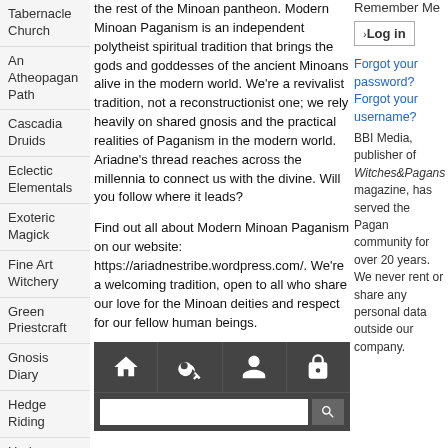Tabernacle Church
An Atheopagan Path
Cascadia Druids
Eclectic Elementals
Exoteric Magick
Fine Art Witchery
Green Priestcraft
Gnosis Diary
Hedge Riding
Hedge Witch
Journeys
the rest of the Minoan pantheon. Modern Minoan Paganism is an independent polytheist spiritual tradition that brings the gods and goddesses of the ancient Minoans alive in the modern world. We're a revivalist tradition, not a reconstructionist one; we rely heavily on shared gnosis and the practical realities of Paganism in the modern world. Ariadne's thread reaches across the millennia to connect us with the divine. Will you follow where it leads?

Find out all about Modern Minoan Paganism on our website: https://ariadnestribe.wordpress.com/. We're a welcoming tradition, open to all who share our love for the Minoan deities and respect for our fellow human beings.
[Figure (screenshot): Navigation bar with home, key, person, and lock icons, and a search box with search button]
Remember Me
› Log in
Forgot your password?
Forgot your username?
BBI Media, publisher of Witches&Pagans magazine, has served the Pagan community for over 20 years. We never rent or share any personal data outside our company.